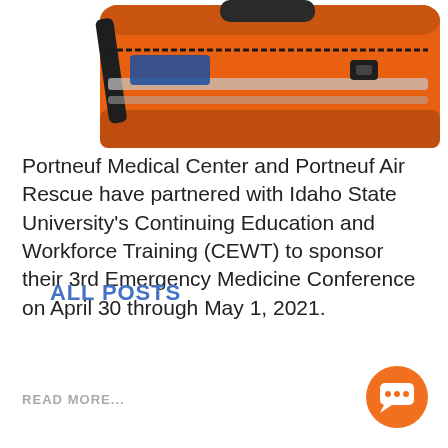[Figure (photo): Partial view of an orange emergency/rescue bag with black straps and reflective strips, cropped at top of page]
Portneuf Medical Center and Portneuf Air Rescue have partnered with Idaho State University's Continuing Education and Workforce Training (CEWT) to sponsor their 3rd Emergency Medicine Conference on April 30 through May 1, 2021.
READ MORE...
ALL POSTS